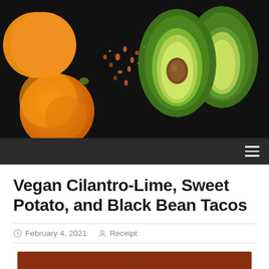[Figure (photo): Header photo of oranges/tangerines and a halved avocado with pit on a dark background with scattered seeds]
Navigation bar with hamburger menu icon
Vegan Cilantro-Lime, Sweet Potato, and Black Bean Tacos
February 4, 2021  Receipt
[Figure (photo): Close-up photo of a taco filled with sweet potato, black beans, cream sauce, capers, and fresh herbs/cilantro on a white tortilla]